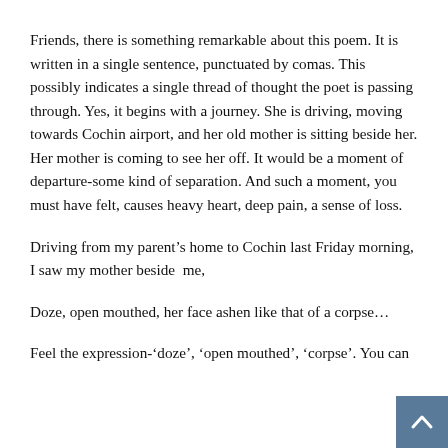Friends, there is something remarkable about this poem. It is written in a single sentence, punctuated by comas. This possibly indicates a single thread of thought the poet is passing through. Yes, it begins with a journey. She is driving, moving towards Cochin airport, and her old mother is sitting beside her. Her mother is coming to see her off. It would be a moment of departure-some kind of separation. And such a moment, you must have felt, causes heavy heart, deep pain, a sense of loss.
Driving from my parent’s home to Cochin last Friday morning, I saw my mother beside  me,
Doze, open mouthed, her face ashen like that of a corpse…
Feel the expression-‘doze’, ‘open mouthed’, ‘corpse’. You can